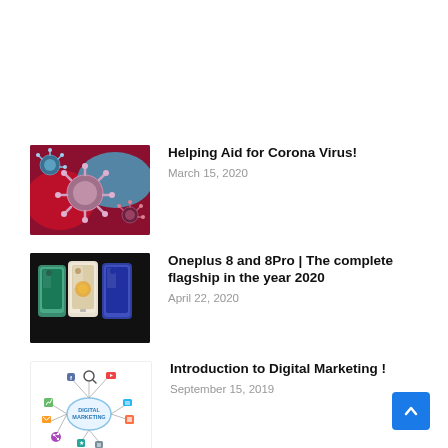[Figure (photo): Microscopic coronavirus particles (red and blue tones)]
Helping Aid for Corona Virus!
March 15, 2020
[Figure (photo): Three OnePlus 8 smartphones (green, white, blue) on black background]
Oneplus 8 and 8Pro | The complete flagship in the year 2020
April 22, 2020
[Figure (illustration): Digital Marketing concept diagram with icons and connected nodes]
Introduction to Digital Marketing !
September 15, 2019